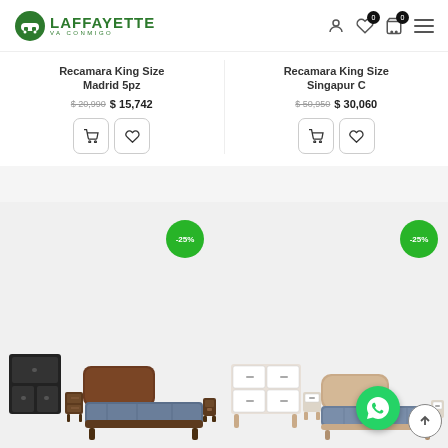[Figure (logo): Laffayette VA CONMIGO logo — green sofa icon with green text]
Recamara King Size Madrid 5pz
$ 20,990  $ 15,742
Recamara King Size Singapur C
$ 50,950  $ 30,060
[Figure (photo): Bedroom set — dark wood bed frame with mattress and nightstands, -25% badge]
[Figure (photo): Bedroom set — light wood/white bed frame with mattress and dressers, -25% badge]